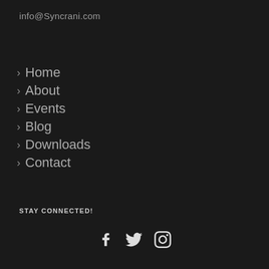info@Syncrani.com
> Home
> About
> Events
> Blog
> Downloads
> Contact
STAY CONNECTED!
[Figure (illustration): Social media icons: Facebook (f), Twitter (bird), Instagram (camera)]